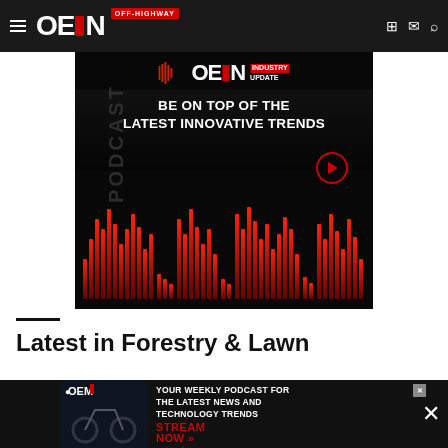OEM Off-Highway
[Figure (advertisement): OEM Industry Update podcast banner ad with sound wave visualization and text 'BE ON TOP OF THE LATEST INNOVATIVE TRENDS']
Latest in Forestry & Lawn
Volvo CE... Wheel Lo...
[Figure (advertisement): OEM podcast popup ad: 'YOUR WEEKLY PODCAST FOR THE LATEST NEWS AND TECHNOLOGY TRENDS' with STREAM NOW button]